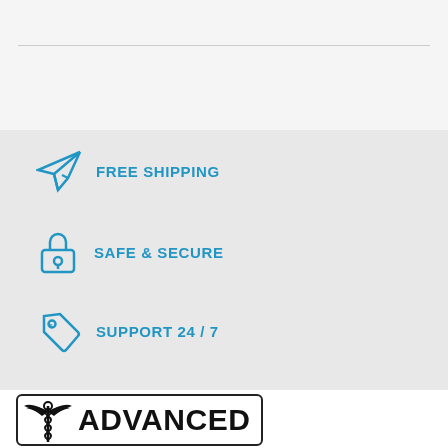[Figure (infographic): Light gray top section with horizontal divider line]
FREE SHIPPING
SAFE & SECURE
SUPPORT 24 / 7
[Figure (logo): Advanced logo with caduceus/winged medical symbol and ADVANCED text in bold]